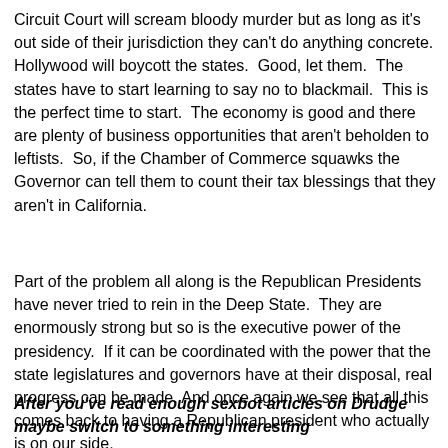Circuit Court will scream bloody murder but as long as it's out side of their jurisdiction they can't do anything concrete. Hollywood will boycott the states.  Good, let them.  The states have to start learning to say no to blackmail.  This is the perfect time to start.  The economy is good and there are plenty of business opportunities that aren't beholden to leftists.  So, if the Chamber of Commerce squawks the Governor can tell them to count their tax blessings that they aren't in California.
Part of the problem all along is the Republican Presidents have never tried to rein in the Deep State.  They are enormously strong but so is the executive power of the presidency.  If it can be coordinated with the power that the state legislatures and governors have at their disposal, real progress can be made.  And once again we see that all this comes back to having a Republican president who actually is on our side.
After you've read enough sexbot articles on Drudge maybe switch to something interesting